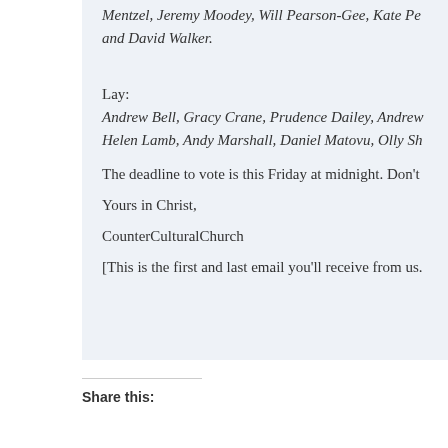Mentzel, Jeremy Moodey, Will Pearson-Gee, Kate Pe… and David Walker.
Lay: Andrew Bell, Gracy Crane, Prudence Dailey, Andrew… Helen Lamb, Andy Marshall, Daniel Matovu, Olly Sh…
The deadline to vote is this Friday at midnight. Don't…
Yours in Christ,
CounterCulturalChurch
[This is the first and last email you'll receive from us…
Share this: